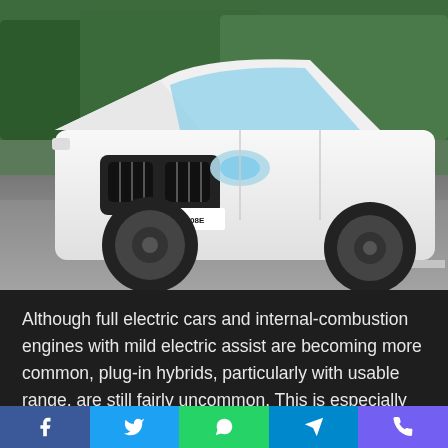[Figure (photo): White BMW X5 SUV driving on a road with green trees in the background. License plate reads M·XC 808E. The car is shown from a front three-quarter angle.]
Although full electric cars and internal-combustion engines with mild electric assist are becoming more common, plug-in hybrids, particularly with usable range, are still fairly uncommon. This is especially evident in the luxury market